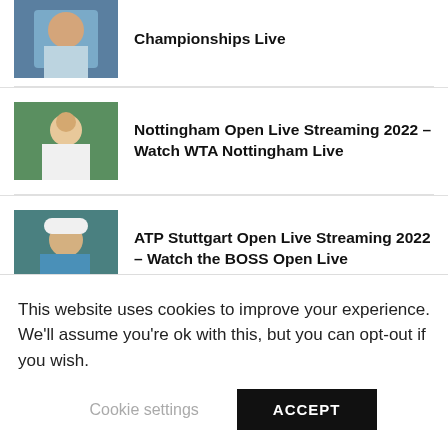[Figure (photo): Partial tennis player image at top, cropped]
Championships Live
[Figure (photo): Female tennis player in white top on green court]
Nottingham Open Live Streaming 2022 – Watch WTA Nottingham Live
[Figure (photo): Male tennis player in blue shirt with white cap]
ATP Stuttgart Open Live Streaming 2022 – Watch the BOSS Open Live
BREAKING
This website uses cookies to improve your experience. We'll assume you're ok with this, but you can opt-out if you wish.
Cookie settings
ACCEPT